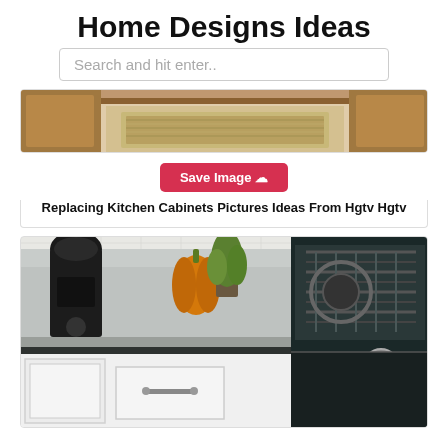Home Designs Ideas
Search and hit enter..
[Figure (photo): Kitchen cabinet drawer pulled out showing interior, with wooden cabinetry visible on sides]
Save Image
Replacing Kitchen Cabinets Pictures Ideas From Hgtv Hgtv
[Figure (photo): Kitchen countertop with gray surface, white shaker cabinets below with drawer, coffee maker, pumpkin and plant on counter, gas stove range on right side]